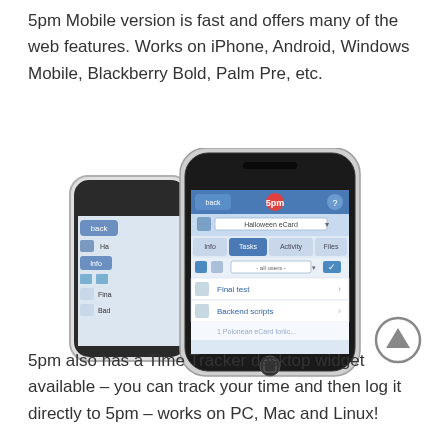5pm Mobile version is fast and offers many of the web features. Works on iPhone, Android, Windows Mobile, Blackberry Bold, Palm Pre, etc.
[Figure (screenshot): Two mobile phones (smartphones) showing the 5pm project management app interface, with one phone in front showing tabs for Info, Tasks, Activity, Files and a task list including 'Final test' and 'Backend scripts', and a second phone partially visible behind it.]
5pm also has a Time Tracker desktop widget available – you can track your time and then log it directly to 5pm – works on PC, Mac and Linux!